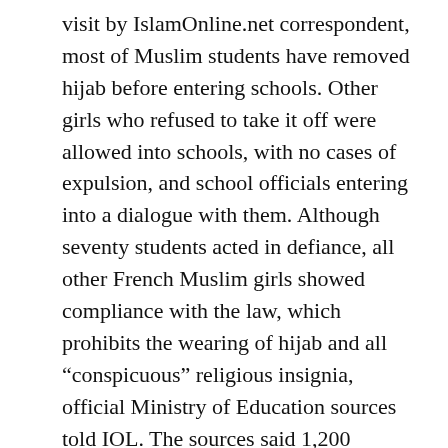visit by IslamOnline.net correspondent, most of Muslim students have removed hijab before entering schools. Other girls who refused to take it off were allowed into schools, with no cases of expulsion, and school officials entering into a dialogue with them. Although seventy students acted in defiance, all other French Muslim girls showed compliance with the law, which prohibits the wearing of hijab and all “conspicuous” religious insignia, official Ministry of Education sources told IOL. The sources said 1,200 Muslim students were putting on hijab in the 2003 school year, against 240 this year. Over 12 million pupils attending 60,000 primary and 11,000 secondary schools are obliged to heed a “secularity law”,